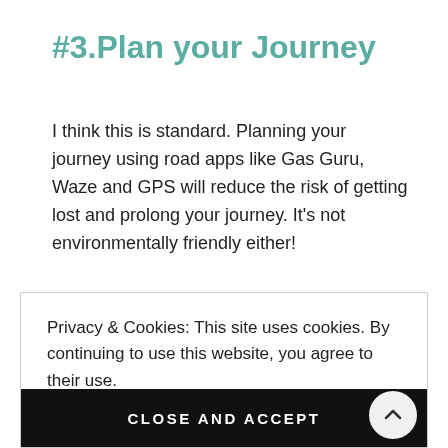#3.Plan your Journey
I think this is standard. Planning your journey using road apps like Gas Guru, Waze and GPS will reduce the risk of getting lost and prolong your journey. It's not environmentally friendly either!
Get everyone on the same page about where you are going and what are you doing. This way, you can plan
Privacy & Cookies: This site uses cookies. By continuing to use this website, you agree to their use.
To find out more, including how to control cookies, see here: Cookie Policy
CLOSE AND ACCEPT